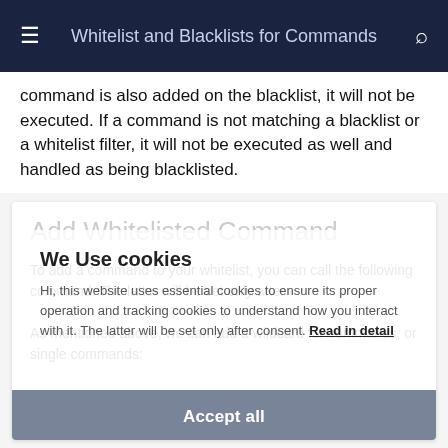Whitelist and Blacklists for Commands
command is also added on the blacklist, it will not be executed. If a command is not matching a blacklist or a whitelist filter, it will not be executed as well and handled as being blacklisted.
Add Whitelisted Command
To add a command to your whitelist, you can call the following command. The latter will be set only after
As mentioned above, we can add a wildcard for commands, or single commands:
We Use cookies
Hi, this website uses essential cookies to ensure its proper operation and tracking cookies to understand how you interact with it. The latter will be set only after consent. Read in detail
Accept all
Reject all
Add-IcingaRESTApiCommand -Command 'Invoke-IcingaCheck*
Add-IcingaRESTApiCommand -Command 'Test-IcingaAgent' -